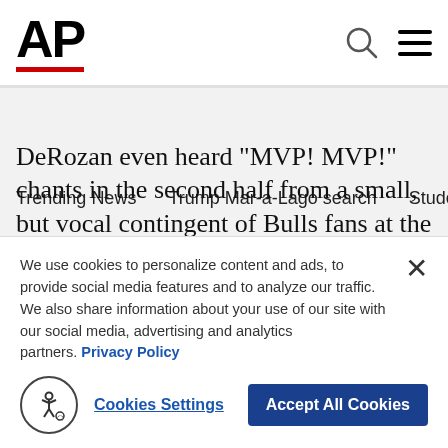AP
Trending News   Trump Mar-a-Lago search   Student loans   U.S.
DeRozan even heard "MVP! MVP!" chants in the second half from a small, but vocal contingent of Bulls fans at the Spectrum Center in Charlotte.
“I’m just trying to finish this thing off going into the (All-Star) break,” DeRozan said. “I understand how critical these games are. It’s a big opportunity for us to take advantage of these last few ga…
We use cookies to personalize content and ads, to provide social media features and to analyze our traffic. We also share information about your use of our site with our social media, advertising and analytics partners. Privacy Policy
Cookies Settings
Accept All Cookies